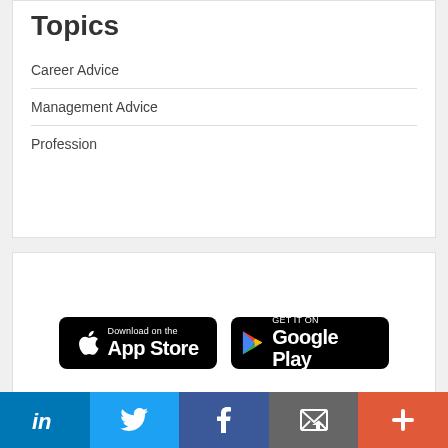Topics
Career Advice
Management Advice
Profession
[Figure (other): App Store and Google Play download badges side by side on black rounded rectangle buttons]
[Figure (other): Social media share bar with LinkedIn, Twitter, Facebook, Email, and More buttons]